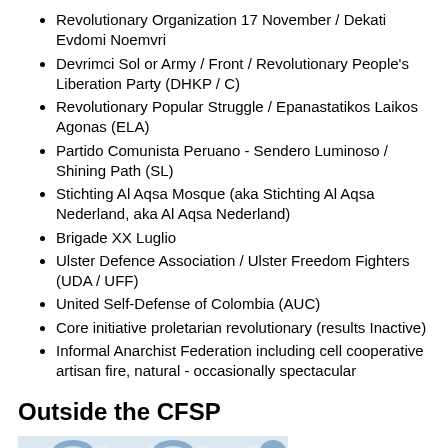Revolutionary Organization 17 November / Dekati Evdomi Noemvri
Devrimci Sol or Army / Front / Revolutionary People's Liberation Party (DHKP / C)
Revolutionary Popular Struggle / Epanastatikos Laikos Agonas (ELA)
Partido Comunista Peruano - Sendero Luminoso / Shining Path (SL)
Stichting Al Aqsa Mosque (aka Stichting Al Aqsa Nederland, aka Al Aqsa Nederland)
Brigade XX Luglio
Ulster Defence Association / Ulster Freedom Fighters (UDA / UFF)
United Self-Defense of Colombia (AUC)
Core initiative proletarian revolutionary (results Inactive)
Informal Anarchist Federation including cell cooperative artisan fire, natural - occasionally spectacular
Outside the CFSP
[Figure (photo): Group of people standing in front of a building with blue and white architectural details, appearing to be an official group photo outdoors.]